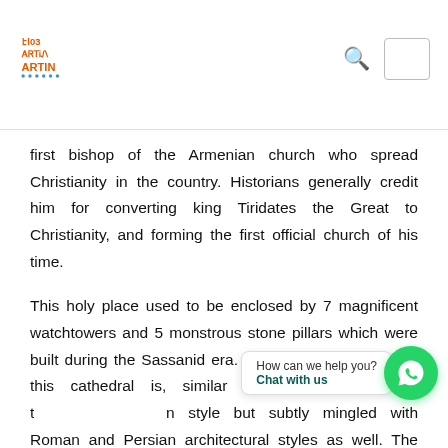ARTIN logo with search and menu icons
first bishop of the Armenian church who spread Christianity in the country. Historians generally credit him for converting king Tiridates the Great to Christianity, and forming the first official church of his time.

This holy place used to be enclosed by 7 magnificent watchtowers and 5 monstrous stone pillars which were built during the Sassanid era. The architectural style of this cathedral is, similar to the last two, the t[...]n style but subtly mingled with Roman and Persian architectural styles as well. The structure is mostly